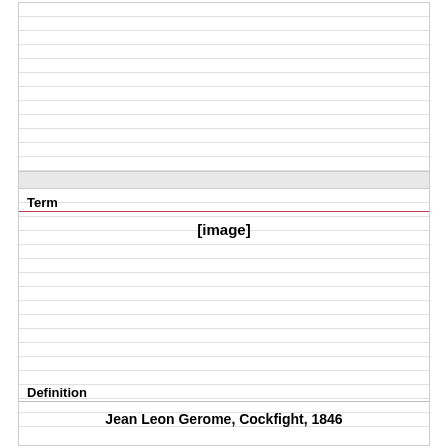Term
[Figure (other): [image] placeholder for a visual/artwork image]
Definition
Jean Leon Gerome, Cockfight, 1846